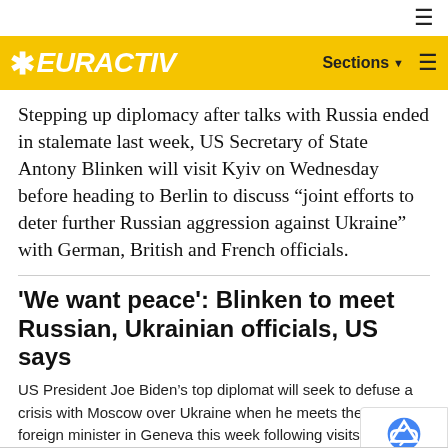EURACTIV — Sections
Stepping up diplomacy after talks with Russia ended in stalemate last week, US Secretary of State Antony Blinken will visit Kyiv on Wednesday before heading to Berlin to discuss “joint efforts to deter further Russian aggression against Ukraine” with German, British and French officials.
'We want peace': Blinken to meet Russian, Ukrainian officials, US says
US President Joe Biden’s top diplomat will seek to defuse a crisis with Moscow over Ukraine when he meets the Russian foreign minister in Geneva this week following visits with Ukrainian leaders in Kyiv and European officials in Berlin.